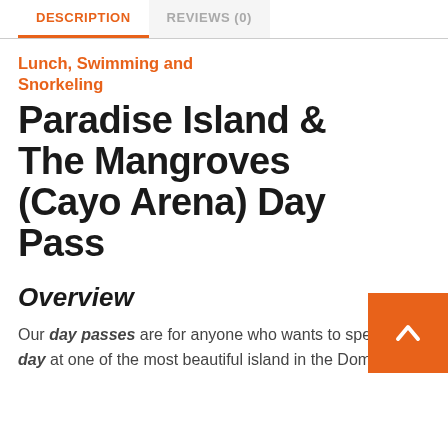DESCRIPTION | REVIEWS (0)
Lunch, Swimming and Snorkeling
Paradise Island & The Mangroves (Cayo Arena) Day Pass
Overview
Our day passes are for anyone who wants to spend a day at one of the most beautiful island in the Dominican